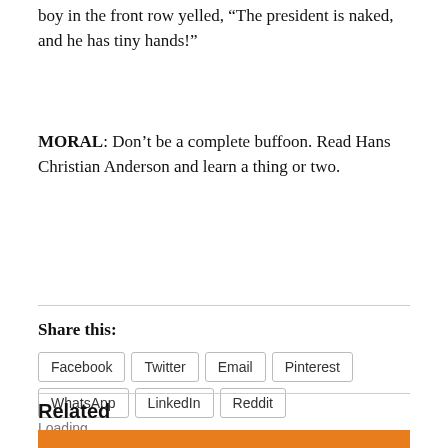boy in the front row yelled, “The president is naked, and he has tiny hands!”
MORAL: Don’t be a complete buffoon. Read Hans Christian Anderson and learn a thing or two.
Share this:
Facebook | Twitter | Email | Pinterest | WhatsApp | LinkedIn | Reddit
Loading...
Related
[Figure (illustration): Orange-background cartoon illustration showing cartoon character faces/figures]